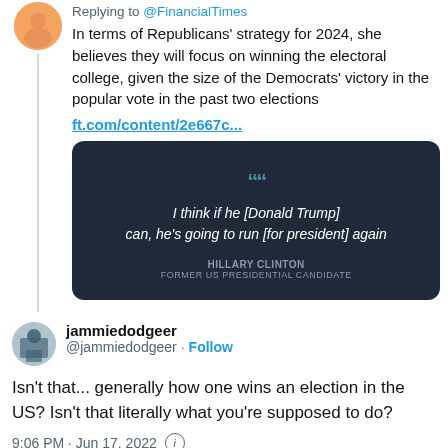Replying to @FinancialTimes
In terms of Republicans' strategy for 2024, she believes they will focus on winning the electoral college, given the size of the Democrats' victory in the popular vote in the past two elections ft.com/content/2e667c...
[Figure (screenshot): Dark quote card with text: I think if he [Donald Trump] can, he's going to run [for president] again — HILLARY CLINTON, FORMER US PRESIDENTIAL CANDIDATE]
jammiedodgeer @jammiedodgeer · Follow
Isn't that... generally how one wins an election in the US? Isn't that literally what you're supposed to do?
9:06 PM · Jun 17, 2022